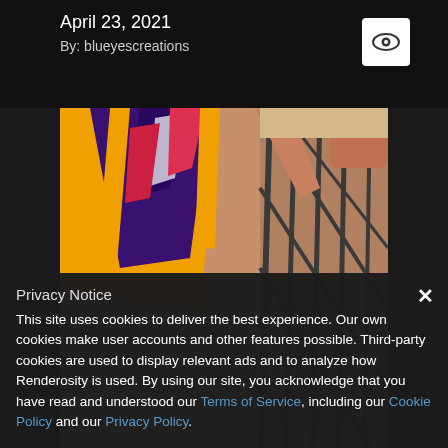April 23, 2021
By: blueyescreations
[Figure (photo): Close-up photo of a person wearing a colorful yellow and purple patterned swimsuit, leaning against a metal fence outdoors]
Privacy Notice
This site uses cookies to deliver the best experience. Our own cookies make user accounts and other features possible. Third-party cookies are used to display relevant ads and to analyze how Renderosity is used. By using our site, you acknowledge that you have read and understood our Terms of Service, including our Cookie Policy and our Privacy Policy.